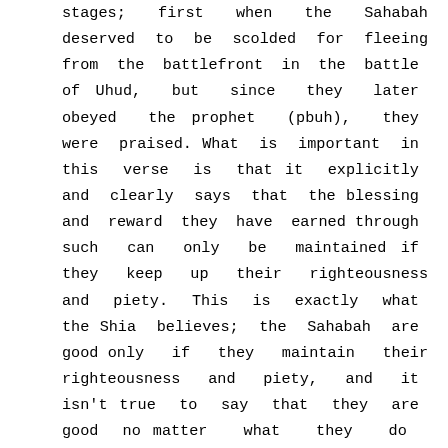stages; first when the Sahabah deserved to be scolded for fleeing from the battlefront in the battle of Uhud, but since they later obeyed the prophet (pbuh), they were praised. What is important in this verse is that it explicitly and clearly says that the blessing and reward they have earned through such can only be maintained if they keep up their righteousness and piety. This is exactly what the Shia believes; the Sahabah are good only if they maintain their righteousness and piety, and it isn't true to say that they are good no matter what they do (so their goodness is contingent upon their praiseworthy actions and isn't absolute).